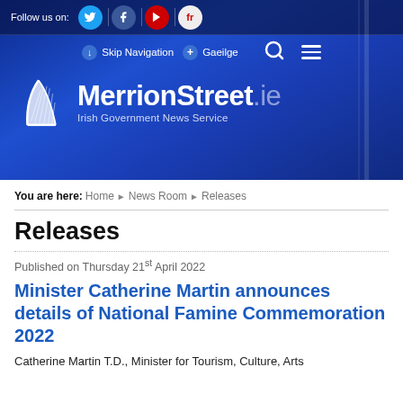[Figure (screenshot): MerrionStreet.ie Irish Government News Service website header with blue gradient background, harp logo, social media icons (Twitter, Facebook, YouTube, Flickr), Skip Navigation and Gaeilge links, search and hamburger menu icons]
You are here: Home ▶ News Room ▶ Releases
Releases
Published on Thursday 21st April 2022
Minister Catherine Martin announces details of National Famine Commemoration 2022
Catherine Martin T.D., Minister for Tourism, Culture, Arts